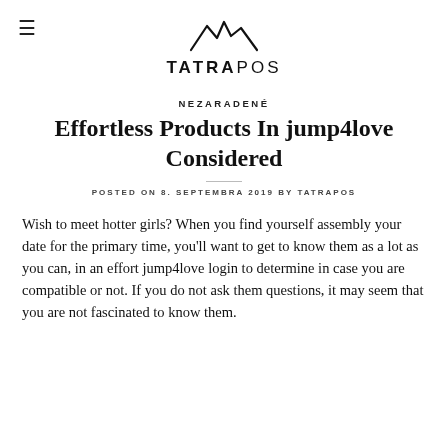TATRAPOS
NEZARADENÉ
Effortless Products In jump4love Considered
POSTED ON 8. SEPTEMBRA 2019 BY TATRAPOS
Wish to meet hotter girls? When you find yourself assembly your date for the primary time, you'll want to get to know them as a lot as you can, in an effort jump4love login to determine in case you are compatible or not. If you do not ask them questions, it may seem that you are not fascinated to know them.